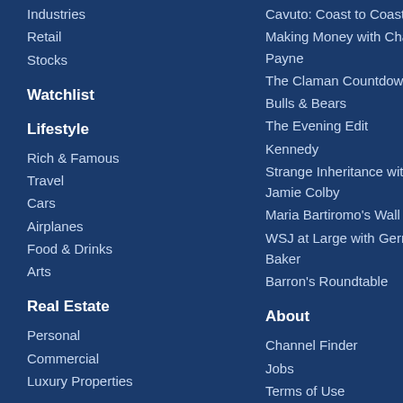Industries
Retail
Stocks
Watchlist
Lifestyle
Rich & Famous
Travel
Cars
Airplanes
Food & Drinks
Arts
Real Estate
Personal
Commercial
Luxury Properties
Cavuto: Coast to Coast
Making Money with Charles Payne
The Claman Countdown
Bulls & Bears
The Evening Edit
Kennedy
Strange Inheritance with Jamie Colby
Maria Bartiromo's Wall Street
WSJ at Large with Gerry Baker
Barron's Roundtable
About
Channel Finder
Jobs
Terms of Use